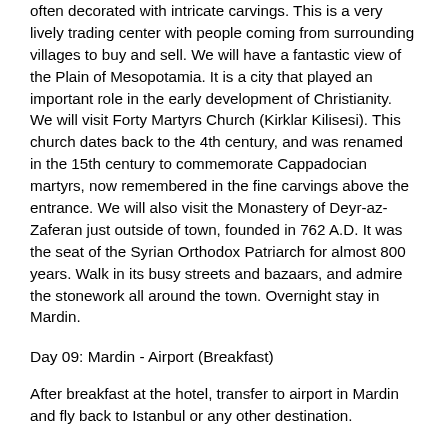often decorated with intricate carvings. This is a very lively trading center with people coming from surrounding villages to buy and sell. We will have a fantastic view of the Plain of Mesopotamia. It is a city that played an important role in the early development of Christianity. We will visit Forty Martyrs Church (Kirklar Kilisesi). This church dates back to the 4th century, and was renamed in the 15th century to commemorate Cappadocian martyrs, now remembered in the fine carvings above the entrance. We will also visit the Monastery of Deyr-az-Zaferan just outside of town, founded in 762 A.D. It was the seat of the Syrian Orthodox Patriarch for almost 800 years. Walk in its busy streets and bazaars, and admire the stonework all around the town. Overnight stay in Mardin.
Day 09: Mardin - Airport (Breakfast)
After breakfast at the hotel, transfer to airport in Mardin and fly back to Istanbul or any other destination.
Route